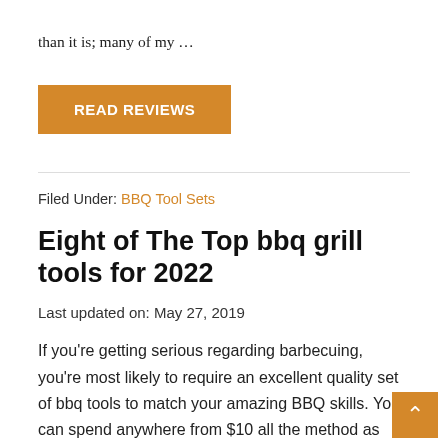than it is; many of my …
READ REVIEWS
Filed Under: BBQ Tool Sets
Eight of The Top bbq grill tools for 2022
Last updated on: May 27, 2019
If you're getting serious regarding barbecuing, you're most likely to require an excellent quality set of bbq tools to match your amazing BBQ skills. You can spend anywhere from $10 all the method as much as numerous bucks on a costs grill tool set. I've …